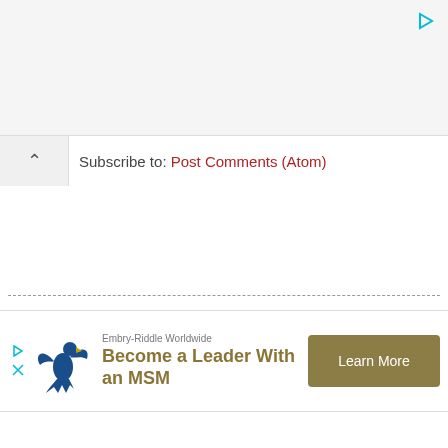Subscribe to: Post Comments (Atom)
[Figure (infographic): Advertisement banner for Embry-Riddle Worldwide: eagle logo, text 'Become a Leader With an MSM', Learn More button]